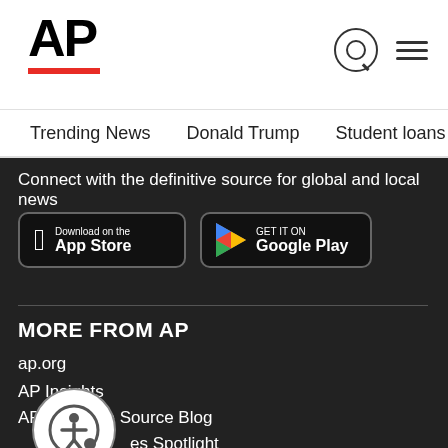[Figure (logo): AP (Associated Press) logo with red underline bar]
Trending News | Donald Trump | Student loans | U.S. Open Tenn
Connect with the definitive source for global and local news
[Figure (other): Download on the App Store button (black with Apple logo)]
[Figure (other): Get it on Google Play button (black with Google Play logo)]
MORE FROM AP
ap.org
AP Insights
AP Definitive Source Blog
AP’s Spotlight
AP Explore
AP Books
AP Styl...